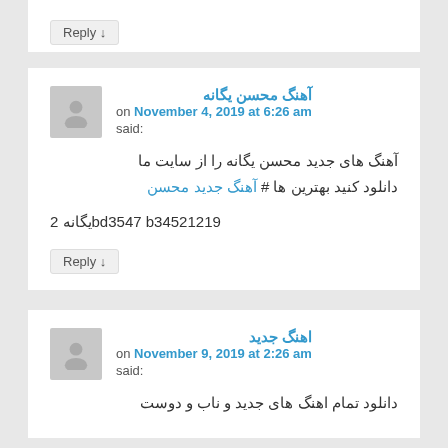Reply ↓
آهنگ محسن یگانه
on November 4, 2019 at 6:26 am said:
آهنگ های جدید محسن یگانه را از سایت ما دانلود کنید بهترین ها # آهنگ جدید محسن 2 یگانه bd3547 b34521219
Reply ↓
اهنگ جدید
on November 9, 2019 at 2:26 am said:
دانلود تمام اهنگ های جدید و ناب و دوست